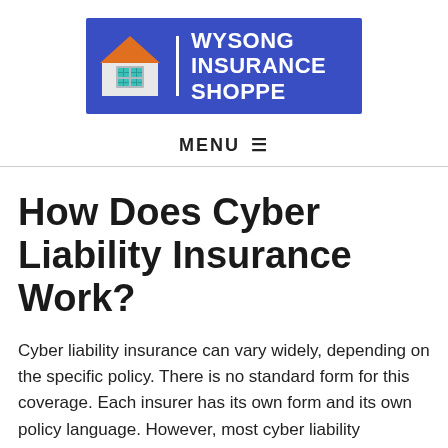[Figure (logo): Wysong Insurance Shoppe logo: blue rectangle with a white house icon on the left and bold white text reading WYSONG INSURANCE SHOPPE on the right]
MENU ☰
How Does Cyber Liability Insurance Work?
Cyber liability insurance can vary widely, depending on the specific policy. There is no standard form for this coverage. Each insurer has its own form and its own policy language. However, most cyber liability policies provide at least some protection for...